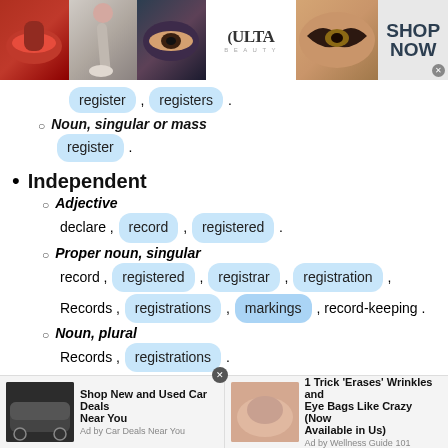[Figure (photo): Ulta Beauty advertisement banner showing makeup images (lips, brush, eye, Ulta logo, eyes) with Shop Now button]
register , registers .
Noun, singular or mass — register .
Independent
Adjective — declare , record , registered .
Proper noun, singular — record , registered , registrar , registration , Records , registrations , markings , record-keeping .
Noun, plural — Records , registrations .
[Figure (photo): Bottom advertisement bar with two ads: 'Shop New and Used Car Deals Near You' (Ad by Car Deals Near You) and '1 Trick Erases Wrinkles and Eye Bags Like Crazy (Now Available in Us)' (Ad by Wellness Guide 101)]